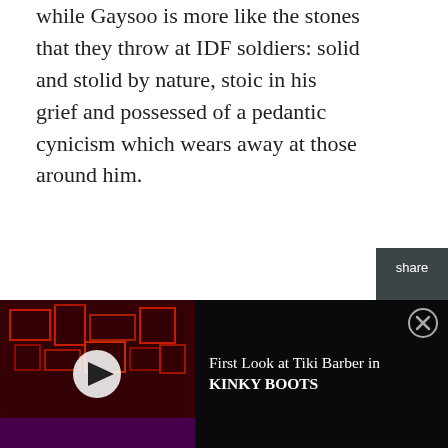while Gaysoo is more like the stones that they throw at IDF soldiers: solid and stolid by nature, stoic in his grief and possessed of a pedantic cynicism which wears away at those around him.
[Figure (other): Social share sidebar with Twitter and Facebook icons on dark background, labeled 'share']
[Figure (other): Video advertisement bar at bottom: thumbnail of a stage show with red/dark lighting and a play button, title 'First Look at Tiki Barber in KINKY BOOTS', close button (X) in top right]